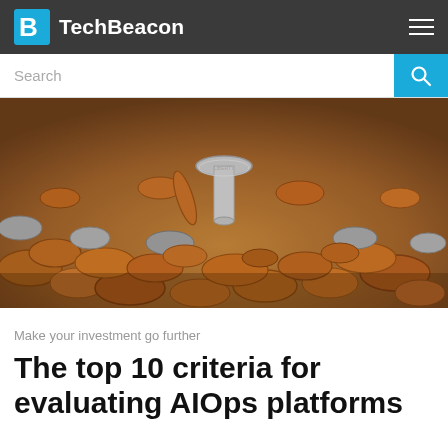TechBeacon
[Figure (photo): Pile of mixed coins (pennies, dimes, quarters) with a coin standing upright in the center, macro photography]
Make your investment go further
The top 10 criteria for evaluating AIOps platforms